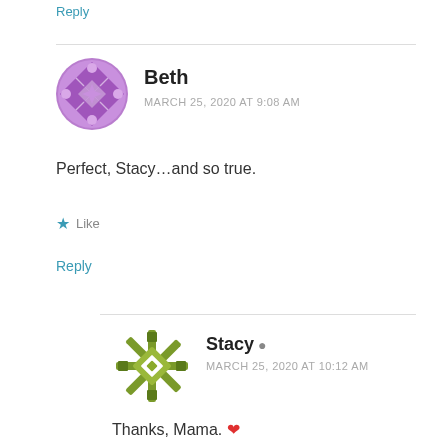Reply
Beth
MARCH 25, 2020 AT 9:08 AM
[Figure (illustration): Purple quilt-pattern circular avatar for user Beth]
Perfect, Stacy…and so true.
★ Like
Reply
[Figure (illustration): Olive/green quilt-pattern square avatar for user Stacy]
Stacy
MARCH 25, 2020 AT 10:12 AM
Thanks, Mama. ❤